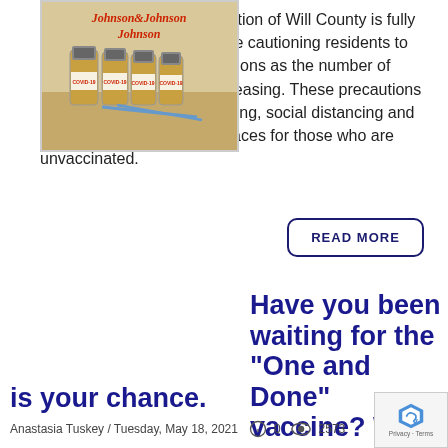While nearly half the population of Will County is fully vaccinated, local officials are cautioning residents to continue COVID-19 precautions as the number of Delta variant cases are increasing. These precautions include frequent hand washing, social distancing and wearing a mask in public places for those who are unvaccinated.
READ MORE
[Figure (photo): Johnson & Johnson vaccine vials with COVID-19 labels and syringes]
Have you been waiting for the “One and Done” vaccine? Well, now is your chance.
Anastasia Tuskey / Tuesday, May 18, 2021   0   2573